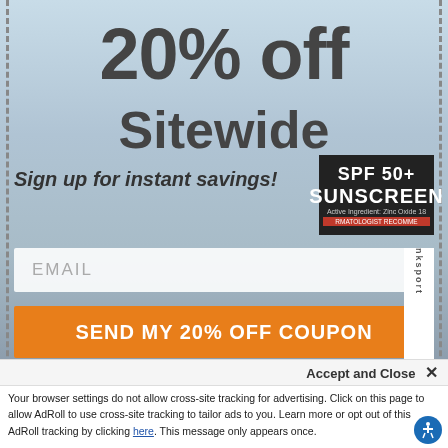[Figure (photo): Beach background with person holding a surfboard, blurred/bokeh style]
20% off
Sitewide
Sign up for instant savings!
[Figure (photo): SPF 50+ SUNSCREEN product packaging - Active Ingredient: Zinc Oxide 18 - Dermatologist Recommended]
EMAIL
SEND MY 20% OFF COUPON
By clicking SEND MY COUPON, you agree to receive marketing text messages from GO THINK at the number provided, including messages sent by autodialer. Consent is not a condition of any purchase. Message
Accept and Close ✕
Your browser settings do not allow cross-site tracking for advertising. Click on this page to allow AdRoll to use cross-site tracking to tailor ads to you. Learn more or opt out of this AdRoll tracking by clicking here. This message only appears once.